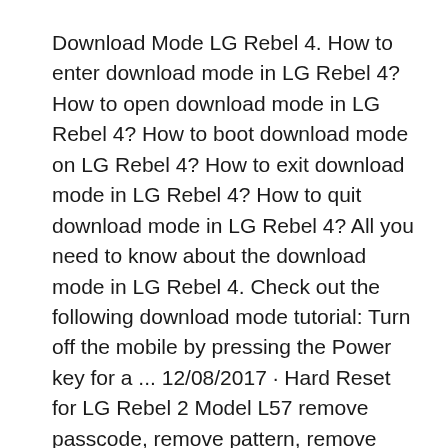Download Mode LG Rebel 4. How to enter download mode in LG Rebel 4? How to open download mode in LG Rebel 4? How to boot download mode on LG Rebel 4? How to exit download mode in LG Rebel 4? How to quit download mode in LG Rebel 4? All you need to know about the download mode in LG Rebel 4. Check out the following download mode tutorial: Turn off the mobile by pressing the Power key for a ... 12/08/2017 · Hard Reset for LG Rebel 2 Model L57 remove passcode, remove pattern, remove password - Duration: 7:10. Kclaudio-Leadership 48,717 views